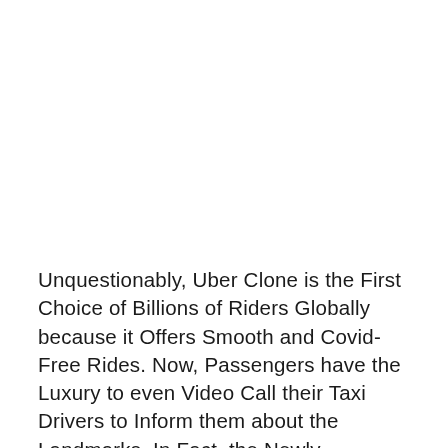Unquestionably, Uber Clone is the First Choice of Billions of Riders Globally because it Offers Smooth and Covid-Free Rides. Now, Passengers have the Luxury to even Video Call their Taxi Drivers to Inform them about the Landmarks. In Fact, the Newly-Introduced Features have been Coded to Allow Taxi